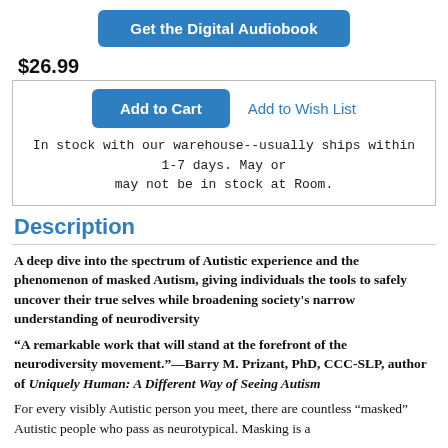[Figure (other): Blue button labeled 'Get the Digital Audiobook']
$26.99
Add to Cart   Add to Wish List
In stock with our warehouse--usually ships within 1-7 days. May or may not be in stock at Room.
Description
A deep dive into the spectrum of Autistic experience and the phenomenon of masked Autism, giving individuals the tools to safely uncover their true selves while broadening society's narrow understanding of neurodiversity
“A remarkable work that will stand at the forefront of the neurodiversity movement.”—Barry M. Prizant, PhD, CCC-SLP, author of Uniquely Human: A Different Way of Seeing Autism
For every visibly Autistic person you meet, there are countless “masked” Autistic people who pass as neurotypical. Masking is a